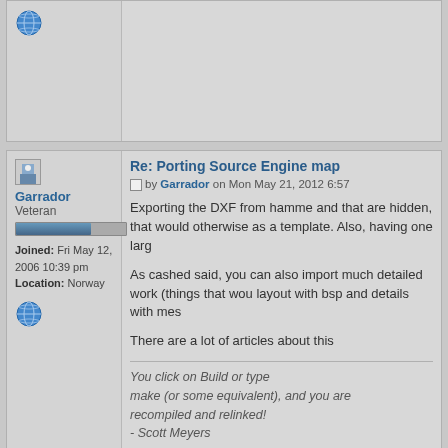[Figure (screenshot): Top partial forum post with globe icon in left column]
Re: Porting Source Engine map
by Garrador on Mon May 21, 2012 6:57
Exporting the DXF from hamme and that are hidden, that would otherwise as a template. Also, having one large
As cashed said, you can also import much detailed work (things that wou layout with bsp and details with mes
There are a lot of articles about this
You click on Build or type
make (or some equivalent), and you are
recompiled and relinked!
- Scott Meyers
Re: Porting Source Engine map
by atrblizzard on Sat May 25, 2013 11:1